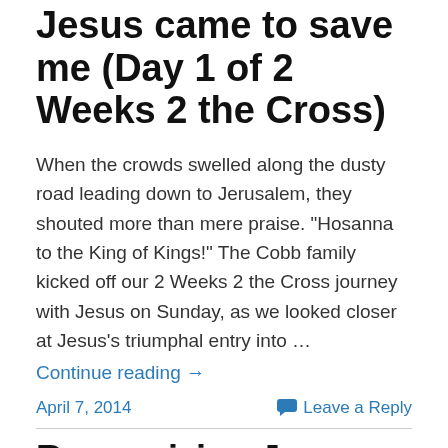Jesus came to save me (Day 1 of 2 Weeks 2 the Cross)
When the crowds swelled along the dusty road leading down to Jerusalem, they shouted more than mere praise. "Hosanna to the King of Kings!" The Cobb family kicked off our 2 Weeks 2 the Cross journey with Jesus on Sunday, as we looked closer at Jesus's triumphal entry into …
Continue reading →
April 7, 2014
Leave a Reply
Recognizing Jesus
Christmas Countdown Day 20 focused on the temple. After Jesus was eight days old, His parents took Him to the temple to be dedicated to the Lord. While there, two …